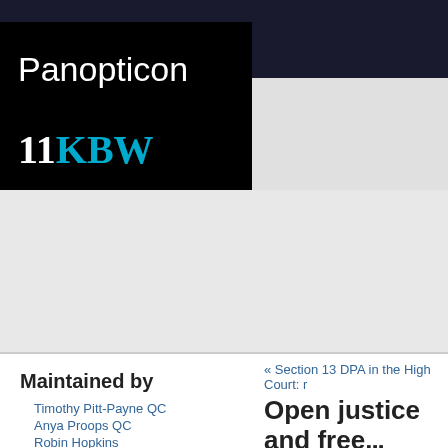Panopticon
[Figure (logo): 11KBW logo with white '11' and cyan 'KBW' letters on black background]
Maintained by
Timothy Pitt-Payne QC
Anya Proops QC
Robin Hopkins
Christopher Knight
« Section 13 DPA in the High Court: r
Open justice and free...
June 18th, 2014
The issue of just how open our justice system should be is one that continues to exercise lawyers. If, as Jeremy Bentham once observed (cited by Lord Shaw in Scott [1913] AC 477), then an open justice is increasingly under threat. In recent cases, judges at least have been prepared to consider not a semi-secret case, but a completely secret trial. It represents a comprehensive departure from the open justice principle, prepared to contemplate such a proce...
Today the open justice principle is ba...
Subscribe